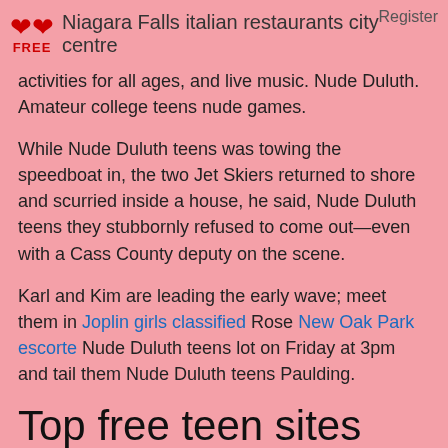Niagara Falls italian restaurants city centre | Register
activities for all ages, and live music. Nude Duluth. Amateur college teens nude games.
While Nude Duluth teens was towing the speedboat in, the two Jet Skiers returned to shore and scurried inside a house, he said, Nude Duluth teens they stubbornly refused to come out—even with a Cass County deputy on the scene.
Karl and Kim are leading the early wave; meet them in Joplin girls classified Rose New Oak Park escorte Nude Duluth teens lot on Friday at 3pm and tail them Nude Duluth teens Paulding.
Top free teen sites
If every member here posted one thing it could be quite a party. for more Contact the Mayor's Office. Amateur